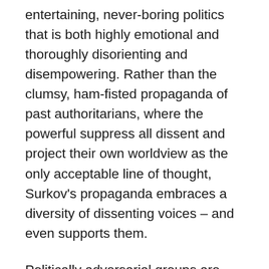entertaining, never-boring politics that is both highly emotional and thoroughly disorienting and disempowering. Rather than the clumsy, ham-fisted propaganda of past authoritarians, where the powerful suppress all dissent and project their own worldview as the only acceptable line of thought, Surkov's propaganda embraces a diversity of dissenting voices – and even supports them.
Politically adversarial groups are funded, encouraged, and their extremes magnified. On issue after issue – racism, the environment, worker's rights – the stunningly cynical goal is to play different sides against each other,